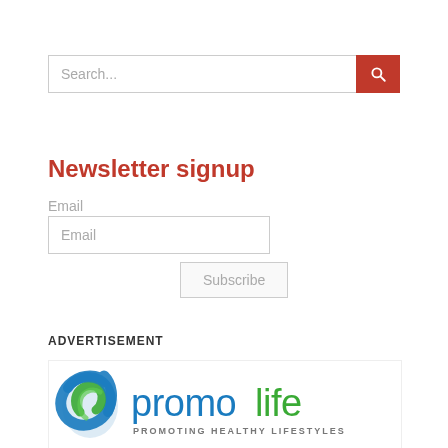Search...
Newsletter signup
Email
Email
Subscribe
ADVERTISEMENT
[Figure (logo): Promolife logo with tagline PROMOTING HEALTHY LIFESTYLES, featuring a blue/green swirl icon and blue/green 'promolife' wordmark]